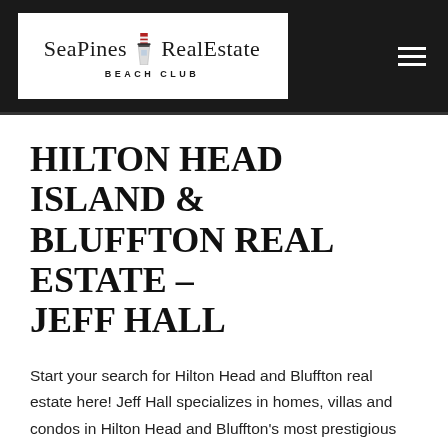[Figure (logo): Sea Pines Real Estate Beach Club logo with lighthouse icon, white background, inside dark header bar]
HILTON HEAD ISLAND & BLUFFTON REAL ESTATE – JEFF HALL
Start your search for Hilton Head and Bluffton real estate here! Jeff Hall specializes in homes, villas and condos in Hilton Head and Bluffton's most prestigious neighborhoods. MLS real estate properties for Oceanfront, Waterfront, Private Golf Communities